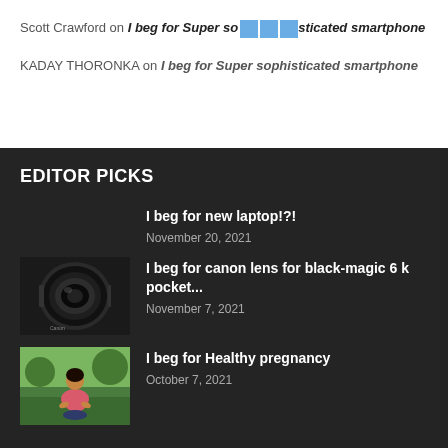Scott Crawford on I beg for Super sophisticated smartphone
KADAY THORONKA on I beg for Super sophisticated smartphone
EDITOR PICKS
I beg for new laptop!?!
November 20, 2021
[Figure (photo): Camera lens, Canon, black]
I beg for canon lens for black-magic 6 k pocket...
November 7, 2021
[Figure (photo): Pregnant woman in pink shirt sitting outdoors]
I beg for Healthy pregnancy
October 7, 2021